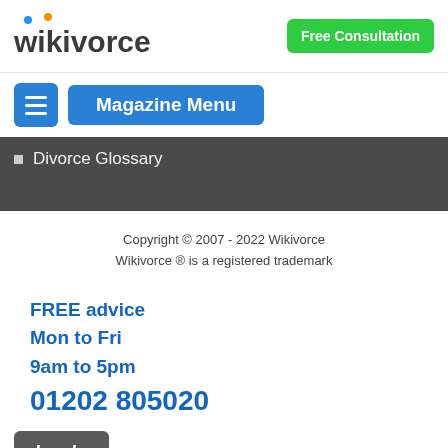[Figure (logo): Wikivorce logo with blue and orange dots above letters]
Free Consultation
Magazine Menu
Divorce Glossary
Copyright © 2007 - 2022 Wikivorce
Wikivorce ® is a registered trademark
FREE advice
Mon to Fri
9am to 5pm
01202 805020
Log In